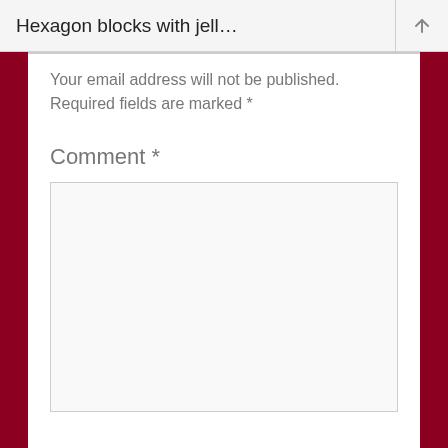Hexagon blocks with jell…
Your email address will not be published. Required fields are marked *
Comment *
[Figure (screenshot): Empty comment text area input field with light gray background and border]